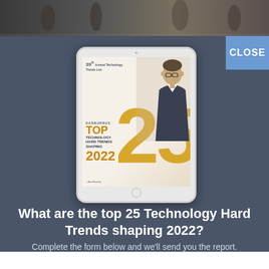[Figure (photo): Hero photo background showing people walking, blurred]
[Figure (illustration): iPad tablet displaying book cover: '39th Annual Technology Trends List - Top 25 Technology Hard Trends Shaping 2022' with golden numerals and man in suit photo on cover]
CLOSE
What are the top 25 Technology Hard Trends shaping 2022?
Complete the form below and we'll send you the report.